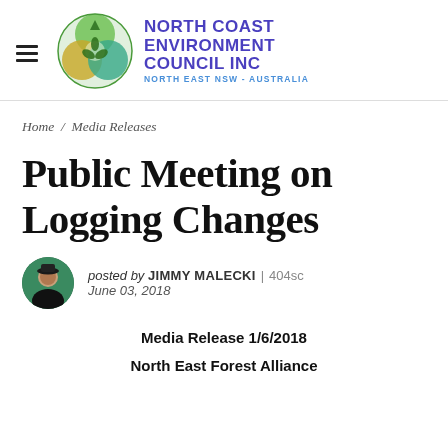[Figure (logo): North Coast Environment Council Inc logo with circular emblem showing trees and wildlife, with purple and blue text]
Home / Media Releases
Public Meeting on Logging Changes
posted by JIMMY MALECKI | 404sc June 03, 2018
Media Release 1/6/2018
North East Forest Alliance